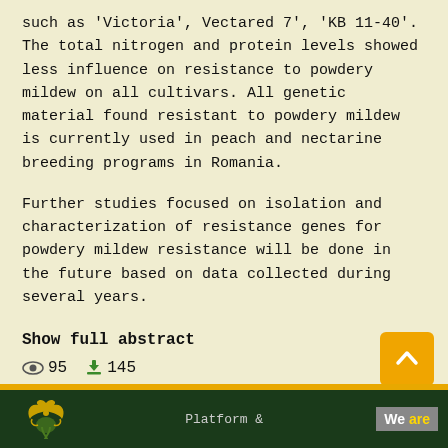such as 'Victoria', Vectared 7', 'KB 11-40'. The total nitrogen and protein levels showed less influence on resistance to powdery mildew on all cultivars. All genetic material found resistant to powdery mildew is currently used in peach and nectarine breeding programs in Romania.
Further studies focused on isolation and characterization of resistance genes for powdery mildew resistance will be done in the future based on data collected during several years.
Show full abstract
95  145
1 - 1 of 1 items
[Figure (logo): Eagle/griffin logo in yellow/green on dark green footer background]
Platform &
We are